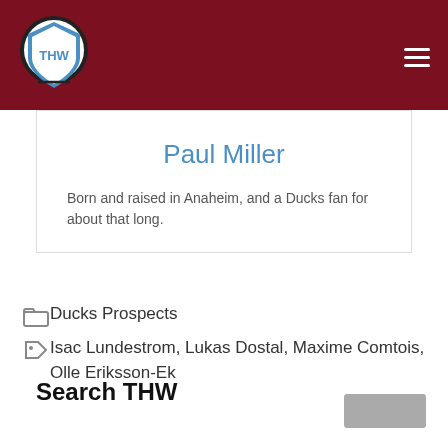THW Hockey Writers
Paul Miller
Born and raised in Anaheim, and a Ducks fan for about that long.
Ducks Prospects
Isac Lundestrom, Lukas Dostal, Maxime Comtois, Olle Eriksson-Ek
Search THW